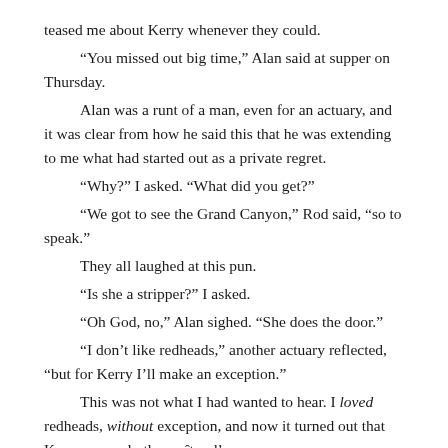teased me about Kerry whenever they could.
“You missed out big time,” Alan said at supper on Thursday.
Alan was a runt of a man, even for an actuary, and it was clear from how he said this that he was extending to me what had started out as a private regret.
“Why?” I asked. “What did you get?”
“We got to see the Grand Canyon,” Rod said, “so to speak.”
They all laughed at this pun.
“Is she a stripper?” I asked.
“Oh God, no,” Alan sighed. “She does the door.”
“I don’t like redheads,” another actuary reflected, “but for Kerry I’ll make an exception.”
This was not what I had wanted to hear. I loved redheads, without exception, and now it turned out that Kerry was only the maître d’.
“She is simply the most beautiful woman I’ve ever seen,” another actuary recapped dreamily.
Rod smiled. “I see we have your attention.”